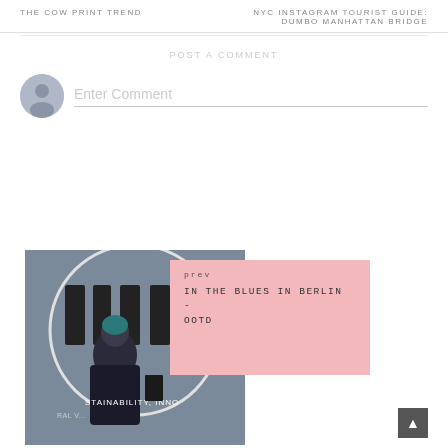THE COW PRINT TREND
NYC INSTAGRAM TOURIST GUIDE: DUMBO MANHATTAN BRIDGE
POST A COMMENT
Enter Comment
[Figure (photo): Woman with teal/blue hair wearing a dark puffer jacket standing in front of a sign reading NEON, SUSTAINABILITY, INNO]
prev
IN THE BLUES IN BERLIN - OOTD